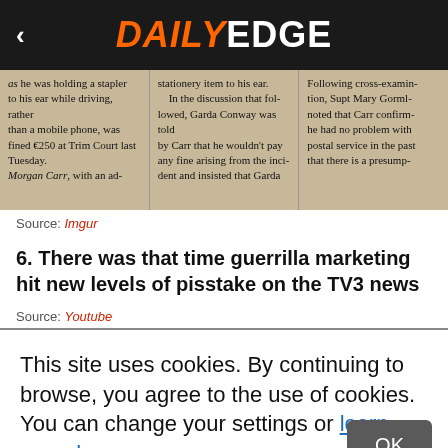DAILY EDGE
[Figure (photo): Scanned newspaper article showing three columns of text about a court case involving Garda Conway and Carr]
Source: Imgur
6. There was that time guerrilla marketing hit new levels of pisstake on the TV3 news
Source: Youtube
This site uses cookies. By continuing to browse, you agree to the use of cookies. You can change your settings or learn more here.